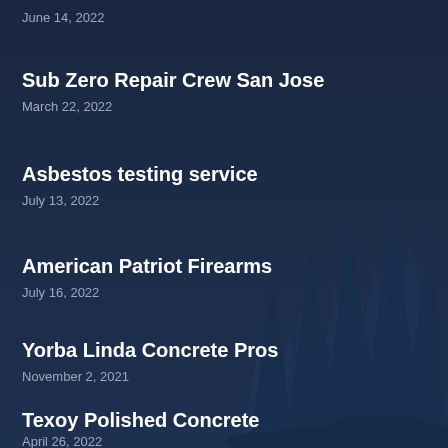June 14, 2022
Sub Zero Repair Crew San Jose
March 22, 2022
Asbestos testing service
July 13, 2022
American Patriot Firearms
July 16, 2022
Yorba Linda Concrete Pros
November 2, 2021
Texoy Polished Concrete
April 26, 2022